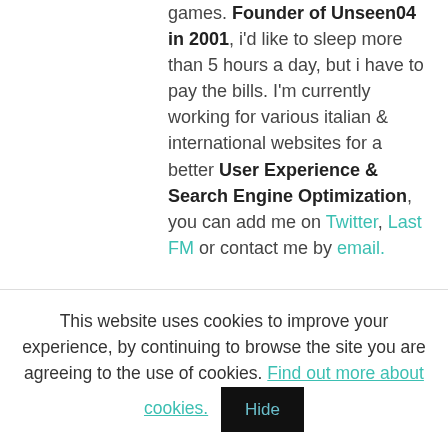games. Founder of Unseen04 in 2001, i'd like to sleep more than 5 hours a day, but i have to pay the bills. I'm currently working for various italian & international websites for a better User Experience & Search Engine Optimization, you can add me on Twitter, Last FM or contact me by email.
More awesome unseen
This website uses cookies to improve your experience, by continuing to browse the site you are agreeing to the use of cookies. Find out more about cookies. Hide